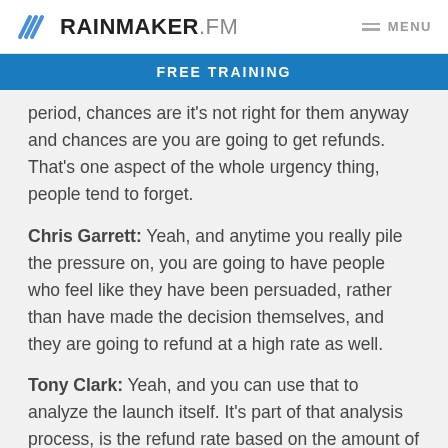RAINMAKER.FM  MENU
FREE TRAINING
period, chances are it's not right for them anyway and chances are you are going to get refunds. That's one aspect of the whole urgency thing, people tend to forget.
Chris Garrett: Yeah, and anytime you really pile the pressure on, you are going to have people who feel like they have been persuaded, rather than have made the decision themselves, and they are going to refund at a high rate as well.
Tony Clark: Yeah, and you can use that to analyze the launch itself. It's part of that analysis process, is the refund rate based on the amount of pressure that they felt, versus they were sold, versus that they bought.